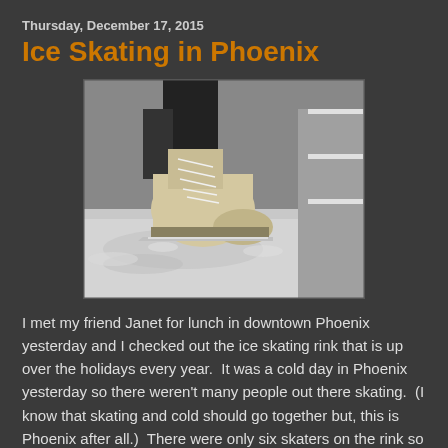Thursday, December 17, 2015
Ice Skating in Phoenix
[Figure (photo): Close-up black and white photo of a figure ice skate on an ice rink, with snow/ice on the ground and a white barrier in the background. The skater is wearing dark pants and a beige/white skate boot.]
I met my friend Janet for lunch in downtown Phoenix yesterday and I checked out the ice skating rink that is up over the holidays every year.  It was a cold day in Phoenix yesterday so there weren't many people out there skating.  (I know that skating and cold should go together but, this is Phoenix after all.)  There were only six skaters on the rink so I decided to zoom in on the skates instead.  The young lady